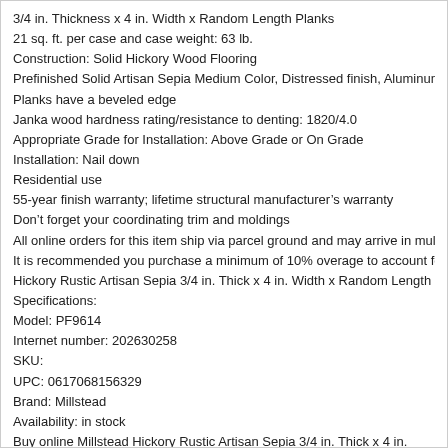3/4 in. Thickness x 4 in. Width x Random Length Planks
21 sq. ft. per case and case weight: 63 lb.
Construction: Solid Hickory Wood Flooring
Prefinished Solid Artisan Sepia Medium Color, Distressed finish, Aluminum oxi
Planks have a beveled edge
Janka wood hardness rating/resistance to denting: 1820/4.0
Appropriate Grade for Installation: Above Grade or On Grade
Installation: Nail down
Residential use
55-year finish warranty; lifetime structural manufacturer’s warranty
Don’t forget your coordinating trim and moldings
All online orders for this item ship via parcel ground and may arrive in multiple
It is recommended you purchase a minimum of 10% overage to account for cu
Hickory Rustic Artisan Sepia 3/4 in. Thick x 4 in. Width x Random Length Solid
Specifications:
Model: PF9614
Internet number: 202630258
SKU:
UPC: 0617068156329
Brand: Millstead
Availability: in stock
Buy online Millstead Hickory Rustic Artisan Sepia 3/4 in. Thick x 4 in. Width x R case) PF9614, leave review and share Your friends.